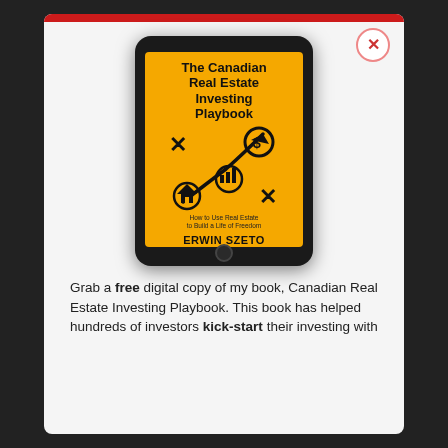[Figure (illustration): A modal popup over a dark background. The modal has a red bar at top and shows a tablet device displaying the book cover of 'The Canadian Real Estate Investing Playbook' by Erwin Szeto on a yellow background, with icons of a house, bar chart, dollar coin, and an upward-curving arrow with X marks. A close (X) button is in the top-right corner of the modal.]
Grab a free digital copy of my book, Canadian Real Estate Investing Playbook. This book has helped hundreds of investors kick-start their investing with